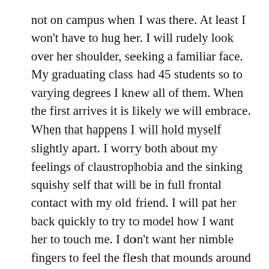not on campus when I was there. At least I won't have to hug her. I will rudely look over her shoulder, seeking a familiar face. My graduating class had 45 students so to varying degrees I knew all of them. When the first arrives it is likely we will embrace. When that happens I will hold myself slightly apart. I worry both about my feelings of claustrophobia and the sinking squishy self that will be in full frontal contact with my old friend. I will pat her back quickly to try to model how I want her to touch me. I don't want her nimble fingers to feel the flesh that mounds around my bra.
The clogs will help with the worst of it but after a small slice of time I will shift from left foot to right trying to ease the pain of too much self on my feet. My left hip will throb and as I reach to massage it I will dig my fingers deep into my upper butt to reach the tight muscle below. It does what it can the